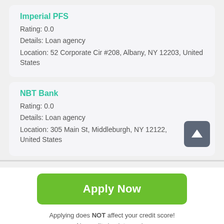Imperial PFS
Rating: 0.0
Details: Loan agency
Location: 52 Corporate Cir #208, Albany, NY 12203, United States
NBT Bank
Rating: 0.0
Details: Loan agency
Location: 305 Main St, Middleburgh, NY 12122, United States
Apply Now
Applying does NOT affect your credit score!
No credit check to apply.